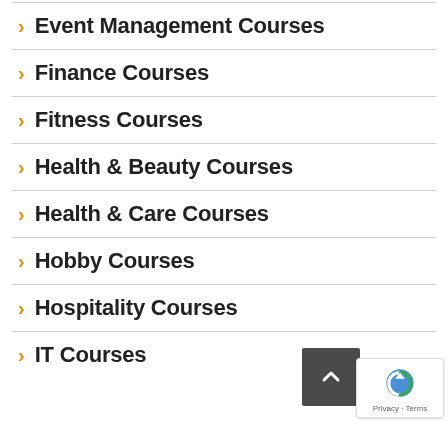Event Management Courses
Finance Courses
Fitness Courses
Health & Beauty Courses
Health & Care Courses
Hobby Courses
Hospitality Courses
IT Courses